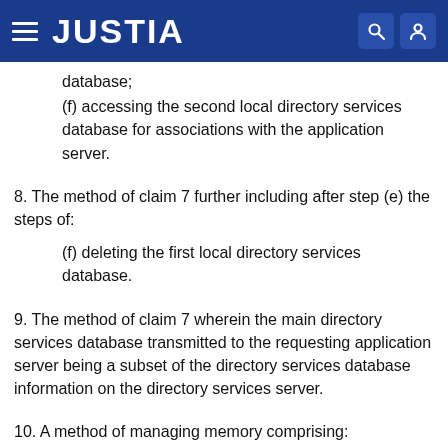JUSTIA
database;
(f) accessing the second local directory services database for associations with the application server.
8. The method of claim 7 further including after step (e) the steps of:
(f) deleting the first local directory services database.
9. The method of claim 7 wherein the main directory services database transmitted to the requesting application server being a subset of the directory services database information on the directory services server.
10. A method of managing memory comprising: